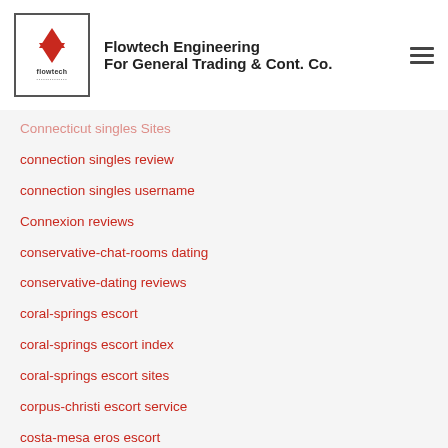[Figure (logo): Flowtech Engineering logo with double arrow]
Flowtech Engineering For General Trading & Cont. Co.
connection singles review
connection singles username
Connexion reviews
conservative-chat-rooms dating
conservative-dating reviews
coral-springs escort
coral-springs escort index
coral-springs escort sites
corpus-christi escort service
costa-mesa eros escort
costa-mesa escort near me